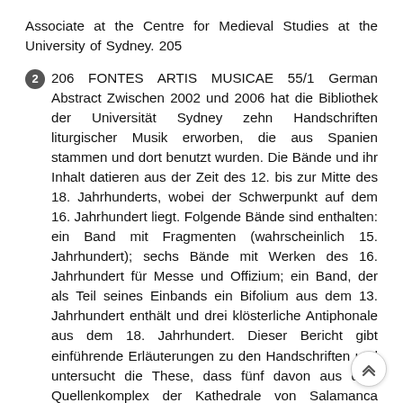Associate at the Centre for Medieval Studies at the University of Sydney. 205
2  206 FONTES ARTIS MUSICAE 55/1 German Abstract Zwischen 2002 und 2006 hat die Bibliothek der Universität Sydney zehn Handschriften liturgischer Musik erworben, die aus Spanien stammen und dort benutzt wurden. Die Bände und ihr Inhalt datieren aus der Zeit des 12. bis zur Mitte des 18. Jahrhunderts, wobei der Schwerpunkt auf dem 16. Jahrhundert liegt. Folgende Bände sind enthalten: ein Band mit Fragmenten (wahrscheinlich 15. Jahrhundert); sechs Bände mit Werken des 16. Jahrhundert für Messe und Offizium; ein Band, der als Teil seines Einbands ein Bifolium aus dem 13. Jahrhundert enthält und drei klösterliche Antiphonale aus dem 18. Jahrhundert. Dieser Bericht gibt einführende Erläuterungen zu den Handschriften und untersucht die These, dass fünf davon aus dem Quellenkomplex der Kathedrale von Salamanca stammen. Dieser wurde erst kürzlich von James Boyce entdeckt und erforscht. Er lieferte damit einen großen Beitrag zum religiösen und intellektuellen Erbe des Goldenen Zeitalters in Spanien. Dieser Überblick lenkt die Aufmerksamkeit der Wissenschaft auf die Sammlung in